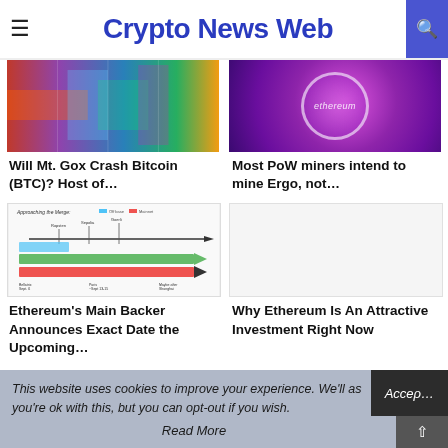Crypto News Web
[Figure (photo): Colorful abstract technology image with red, purple, blue, green tones]
[Figure (photo): Purple/magenta background with Ethereum logo circle and 'ethereum' text]
Will Mt. Gox Crash Bitcoin (BTC)? Host of…
Most PoW miners intend to mine Ergo, not…
[Figure (infographic): Approaching the Merge timeline/roadmap chart with colored bars and arrows showing Ethereum merge milestones]
[Figure (other): Light gray placeholder image]
Ethereum's Main Backer Announces Exact Date the Upcoming…
Why Ethereum Is An Attractive Investment Right Now
This website uses cookies to improve your experience. We'll as you're ok with this, but you can opt-out if you wish.
Read More